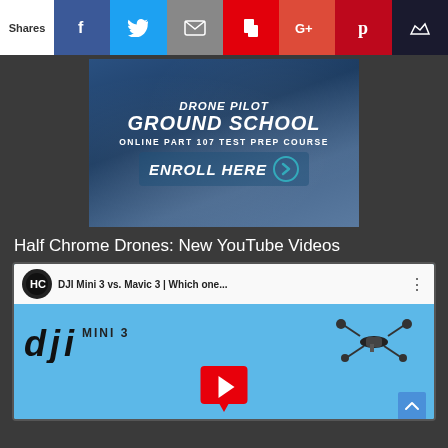[Figure (infographic): Social share bar with Shares label and icons: Facebook, Twitter, Email, Flipboard, Google+, Pinterest, crown/other]
[Figure (infographic): Drone Pilot Ground School advertisement banner: 'DRONE PILOT GROUND SCHOOL - ONLINE PART 107 TEST PREP COURSE - ENROLL HERE' with arrow button, blue sky background]
Half Chrome Drones: New YouTube Videos
[Figure (screenshot): YouTube video thumbnail for 'DJI Mini 3 vs. Mavic 3 | Which one...' showing DJI Mini 3 logo, a drone silhouette, and the YouTube play button on a blue background]